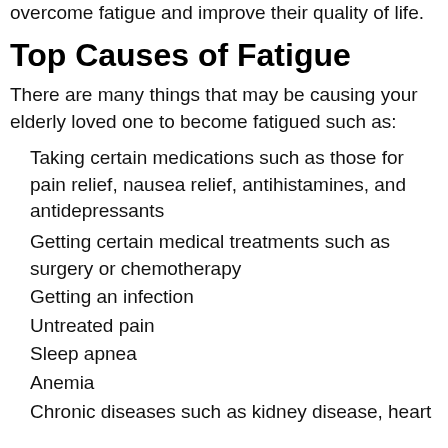overcome fatigue and improve their quality of life.
Top Causes of Fatigue
There are many things that may be causing your elderly loved one to become fatigued such as:
Taking certain medications such as those for pain relief, nausea relief, antihistamines, and antidepressants
Getting certain medical treatments such as surgery or chemotherapy
Getting an infection
Untreated pain
Sleep apnea
Anemia
Chronic diseases such as kidney disease, heart